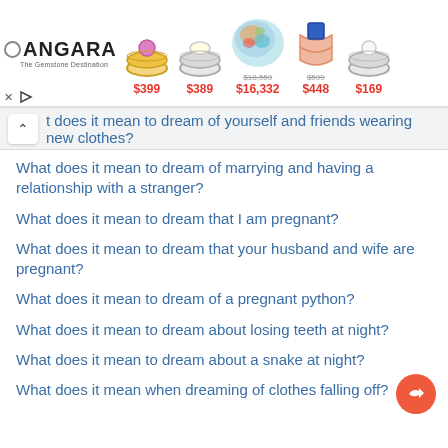[Figure (screenshot): Angara gemstone jewelry advertisement banner showing 5 rings/gems with prices: $399, $389, $16,332 (was $18,559), $448 (was $599), $169]
t does it mean to dream of yourself and friends wearing new clothes?
What does it mean to dream of marrying and having a relationship with a stranger?
What does it mean to dream that I am pregnant?
What does it mean to dream that your husband and wife are pregnant?
What does it mean to dream of a pregnant python?
What does it mean to dream about losing teeth at night?
What does it mean to dream about a snake at night?
What does it mean when dreaming of clothes falling off?